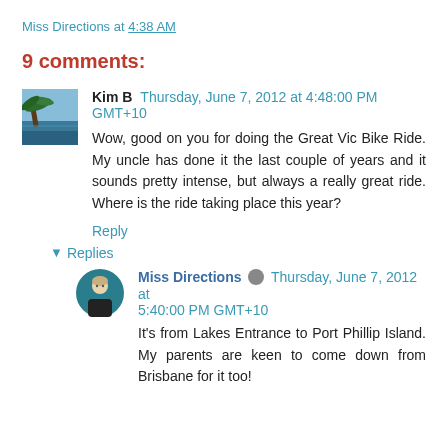Miss Directions at 4:38 AM
9 comments:
Kim B  Thursday, June 7, 2012 at 4:48:00 PM GMT+10
Wow, good on you for doing the Great Vic Bike Ride. My uncle has done it the last couple of years and it sounds pretty intense, but always a really great ride. Where is the ride taking place this year?
Reply
Replies
Miss Directions  Thursday, June 7, 2012 at 5:40:00 PM GMT+10
It's from Lakes Entrance to Port Phillip Island. My parents are keen to come down from Brisbane for it too!